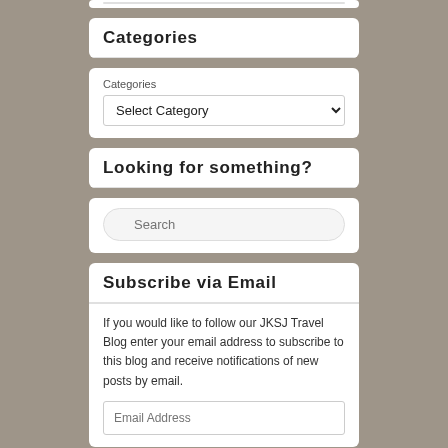Categories
Categories
Select Category
Looking for something?
Search
Subscribe via Email
If you would like to follow our JKSJ Travel Blog enter your email address to subscribe to this blog and receive notifications of new posts by email.
Email Address